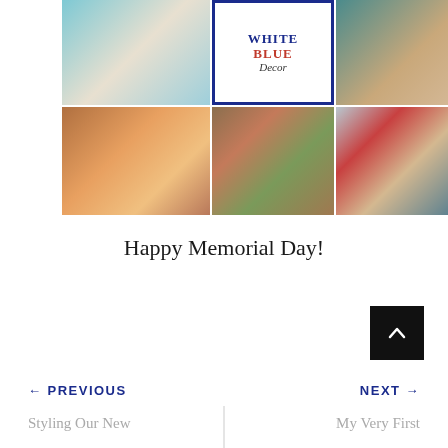[Figure (photo): Collage of six interior/exterior home decor photos arranged in a 3x2 grid, including a bedroom with blue bedding, a White Blue Decor logo, a teal living room, an orange living room, a cottage porch with red chair, and a window with red geraniums]
Happy Memorial Day!
← PREVIOUS  NEXT →
Styling Our New
My Very First